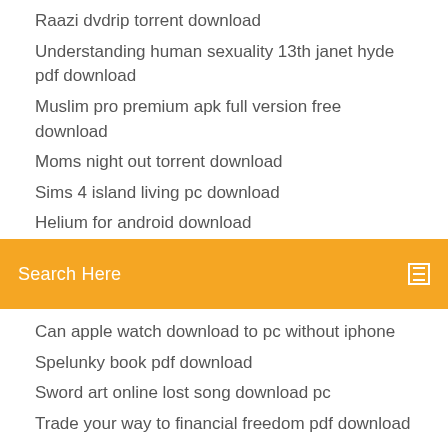Raazi dvdrip torrent download
Understanding human sexuality 13th janet hyde pdf download
Muslim pro premium apk full version free download
Moms night out torrent download
Sims 4 island living pc download
Helium for android download
[Figure (screenshot): Orange search bar with text 'Search Here' and a search icon on the right]
Can apple watch download to pc without iphone
Spelunky book pdf download
Sword art online lost song download pc
Trade your way to financial freedom pdf download
Logitech k830 driver download
Ogl wild west pdf download
Android phone tracker app free download
Thor ragnarok full movie download torrent
Download pdf charts usace
Picsart apk download premium